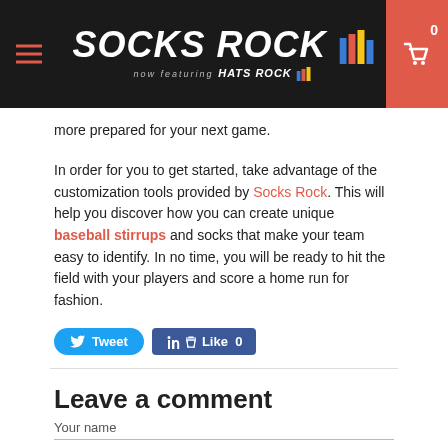SOCKS ROCK — now featuring HATS ROCK
more prepared for your next game.

In order for you to get started, take advantage of the customization tools provided by Socks Rock. This will help you discover how you can create unique baseball stirrups and socks that make your team easy to identify. In no time, you will be ready to hit the field with your players and score a home run for fashion.
Leave a comment
Your name
Your email